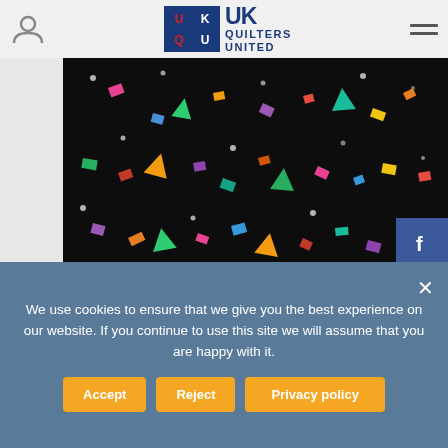[Figure (logo): UK Quilters United logo with blue box containing UK/QU letters and text 'UK QUILTERS UNITED']
[Figure (photo): Close-up photograph of a quilt fabric with colorful confetti-shaped pieces (triangles, squares, rectangles) scattered on a black background with small white dots]
[Figure (infographic): Social media sidebar buttons: Facebook (blue), Twitter (blue bird), Pinterest (red P), and a plus button (gold circle)]
We use cookies to ensure that we give you the best experience on our website. If you continue to use this site we will assume that you are happy with it.
Accept
Reject
Privacy policy